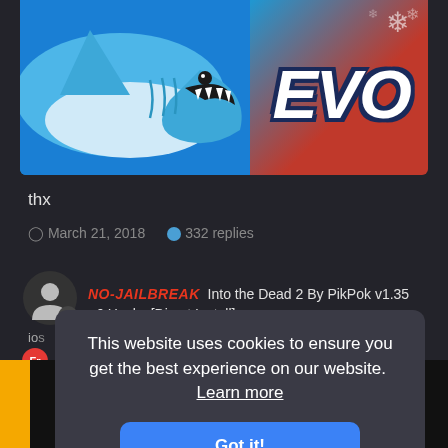[Figure (screenshot): Game banner for Hungry Shark with EVO logo and shark graphic on blue/red background]
thx
March 21, 2018   332 replies
[Figure (illustration): User avatar circle with person silhouette and small chat badge]
NO-JAILBREAK   Into the Dead 2 By PikPok v1.35 +6 Hacks [Direct Install]
ios
This website uses cookies to ensure you get the best experience on our website.  Learn more
Got it!